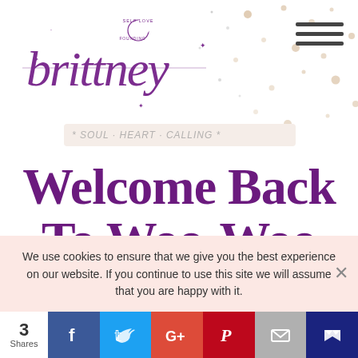[Figure (logo): Brittney Self Love branding cursive script logo with moon and stars decoration]
* SOUL * HEART * CALLING *
Welcome Back To Woo-Woo Wednesday!
We use cookies to ensure that we give you the best experience on our website. If you continue to use this site we will assume that you are happy with it.
3 Shares